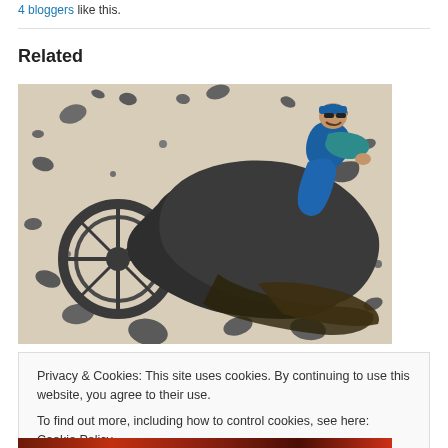4 bloggers like this.
Related
[Figure (photo): A detailed dark sculpture or model of a grotesque motorcycle with organic, alien-like features. A figure wearing a blue vest and cap is riding it. Rocky debris floats around the scene on a light beige background.]
Privacy & Cookies: This site uses cookies. By continuing to use this website, you agree to their use.
To find out more, including how to control cookies, see here: Cookie Policy
[Figure (photo): Bottom partial image with red/fire tones, partially visible.]